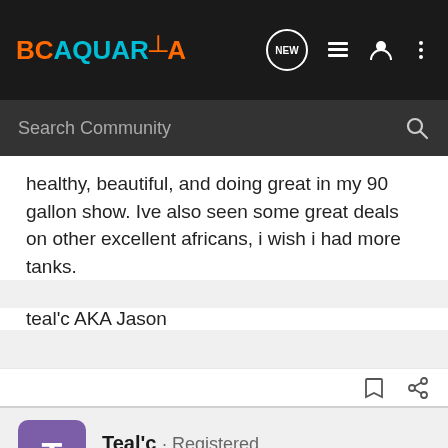BCAQUARIA — Navigation bar with logo, NEW, list, person, and menu icons
Search Community
healthy, beautiful, and doing great in my 90 gallon show. Ive also seen some great deals on other excellent africans, i wish i had more tanks.
teal'c AKA Jason
Teal'c · Registered
Joined Apr 21, 2010 · 325 Posts
Discussion Starter · #8 · Jun 9, 2010
metriclima pyrosontos all gone, only 2 socolofi left, come and get them while there hot.